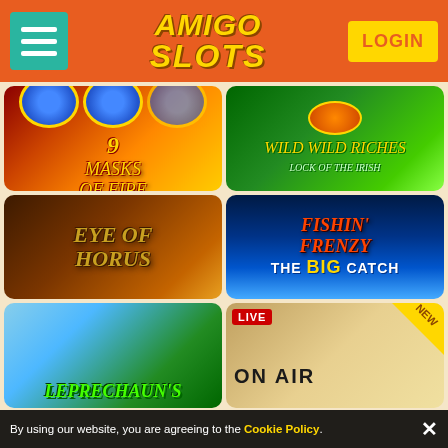[Figure (screenshot): Amigo Slots casino website header with orange background, teal hamburger menu, Amigo Slots logo in center, and yellow LOGIN button on right]
[Figure (screenshot): Grid of casino game thumbnails: 9 Masks of Fire, Wild Wild Riches, Eye of Horus, Fishin Frenzy The Big Catch, Leprechaun's, and a LIVE On Air roulette game with NEW badge]
By using our website, you are agreeing to the Cookie Policy.